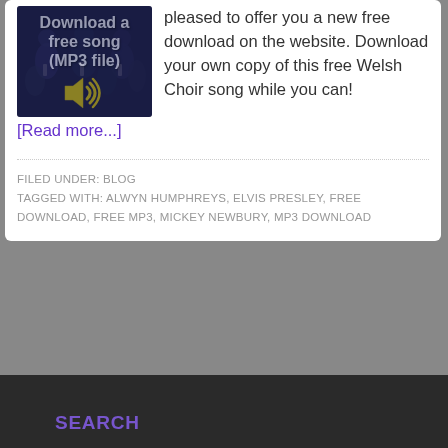[Figure (illustration): Image showing men in suits (choir) with text overlay 'Download a free song (MP3 file)' and a yellow speaker/audio icon]
pleased to offer you a new free download on the website. Download your own copy of this free Welsh Choir song while you can! [Read more...]
FILED UNDER: BLOG
TAGGED WITH: ALWYN HUMPHREYS, ELVIS PRESLEY, FREE DOWNLOAD, FREE MP3, MICKEY NEWBURY, MP3 DOWNLOAD
SEARCH